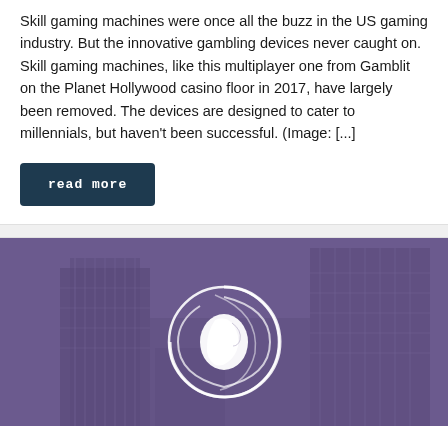Skill gaming machines were once all the buzz in the US gaming industry. But the innovative gambling devices never caught on. Skill gaming machines, like this multiplayer one from Gamblit on the Planet Hollywood casino floor in 2017, have largely been removed. The devices are designed to cater to millennials, but haven't been successful. (Image: [...]
read more
[Figure (photo): Purple-toned aerial/architectural photo of a casino building with a white circular logo featuring a profile of a face in the center overlay]